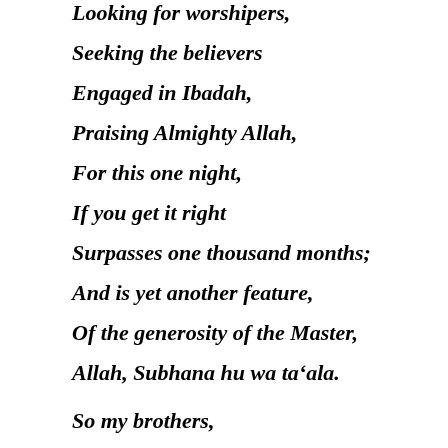Looking for worshipers,
Seeking the believers
Engaged in Ibadah,
Praising Almighty Allah,
For this one night,
If you get it right
Surpasses one thousand months;
And is yet another feature,
Of the generosity of the Master,
Allah, Subhana hu wa ta'ala.
So my brothers,